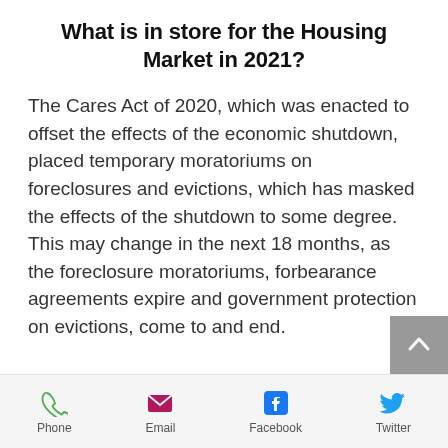What is in store for the Housing Market in 2021?
The Cares Act of 2020, which was enacted to offset the effects of the economic shutdown, placed temporary moratoriums on foreclosures and evictions, which has masked the effects of the shutdown to some degree. This may change in the next 18 months, as the foreclosure moratoriums, forbearance agreements expire and government protection on evictions, come to and end.
Phone  Email  Facebook  Twitter